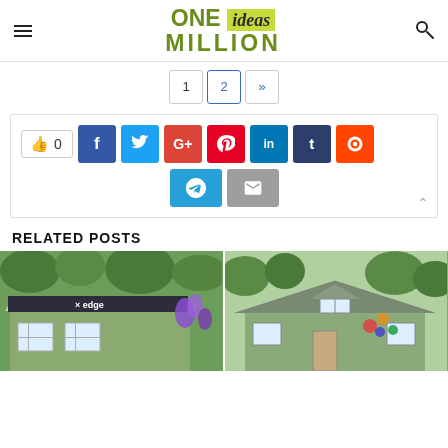ONE ideas MILLION
1 2 »
[Figure (infographic): Social share bar with like button (0 likes), Facebook, Twitter, Google+, Pinterest, LinkedIn, Tumblr, Reddit, Telegram, and Email buttons]
RELATED POSTS
[Figure (photo): Two related post thumbnail images: left shows a modular home with 'edge' branding; right shows a green cottage with decorative items on the facade]